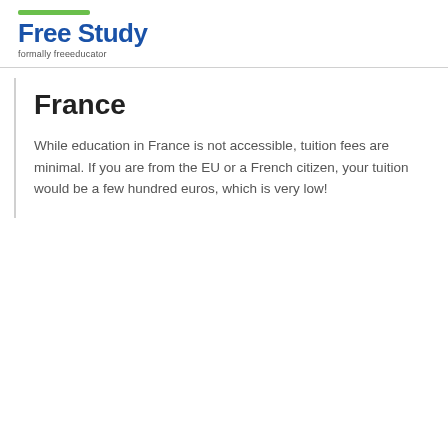Free Study
formally freeeducator
France
While education in France is not accessible, tuition fees are minimal. If you are from the EU or a French citizen, your tuition would be a few hundred euros, which is very low!